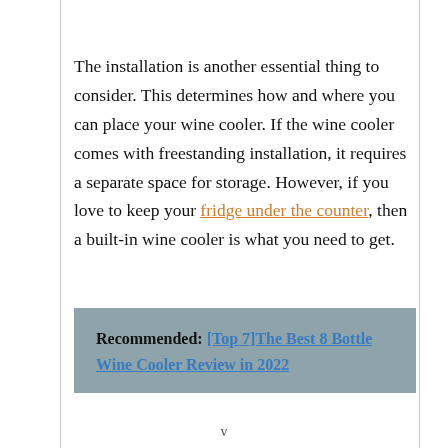The installation is another essential thing to consider. This determines how and where you can place your wine cooler. If the wine cooler comes with freestanding installation, it requires a separate space for storage. However, if you love to keep your fridge under the counter, then a built-in wine cooler is what you need to get.
Recommended: [Top 7]The Best 8 Bottle Wine Cooler Review in 2022